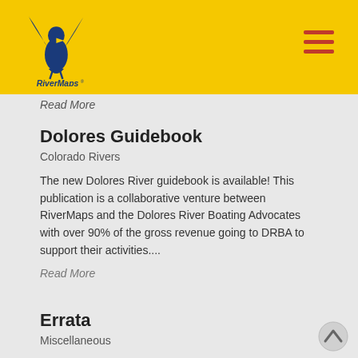RiverMaps
Read More
Dolores Guidebook
Colorado Rivers
The new Dolores River guidebook is available! This publication is a collaborative venture between RiverMaps and the Dolores River Boating Advocates with over 90% of the gross revenue going to DRBA to support their activities....
Read More
Errata
Miscellaneous
We occasionally become aware of changes that need to be made to future printings of our guidebooks. We post that information on this website so that you can note those...